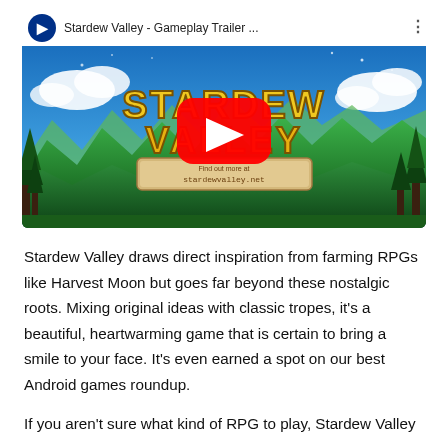[Figure (screenshot): YouTube video thumbnail for 'Stardew Valley - Gameplay Trailer ...' showing the Stardew Valley game title logo over a colorful pixel-art landscape with mountains and trees, with a large red YouTube play button in the center. A PlayStation logo and video title bar appear at the top.]
Stardew Valley draws direct inspiration from farming RPGs like Harvest Moon but goes far beyond these nostalgic roots. Mixing original ideas with classic tropes, it's a beautiful, heartwarming game that is certain to bring a smile to your face. It's even earned a spot on our best Android games roundup.
If you aren't sure what kind of RPG to play, Stardew Valley